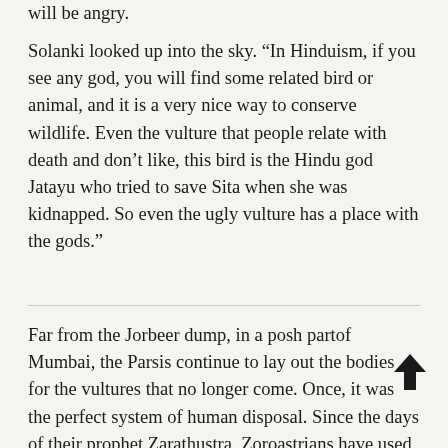will be angry.
Solanki looked up into the sky. “In Hinduism, if you see any god, you will find some related bird or animal, and it is a very nice way to conserve wildlife. Even the vulture that people relate with death and don’t like, this bird is the Hindu god Jatayu who tried to save Sita when she was kidnapped. So even the ugly vulture has a place with the gods.”
Far from the Jorbeer dump, in a posh partof Mumbai, the Parsis continue to lay out the bodies for the vultures that no longer come. Once, it was the perfect system of human disposal. Since the days of their prophet Zarathustra, Zoroastrians have used dhokmas, Towers of Silence, for sky burials. While the vast majority of humans on earth choose to bury or burn their dead, Parsis believe that